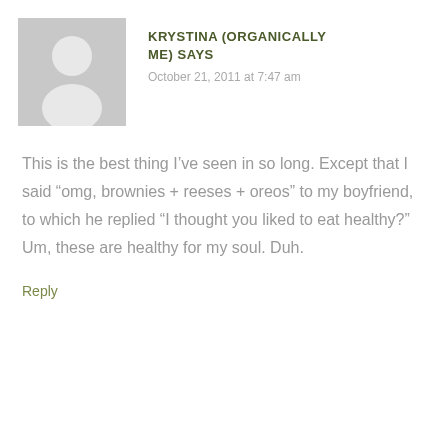[Figure (illustration): Default gray avatar/placeholder image showing a silhouette of a person (head and shoulders) on a gray square background]
KRYSTINA (ORGANICALLY ME) SAYS
October 21, 2011 at 7:47 am
This is the best thing I’ve seen in so long. Except that I said “omg, brownies + reeses + oreos” to my boyfriend, to which he replied “I thought you liked to eat healthy?” Um, these are healthy for my soul. Duh.
Reply